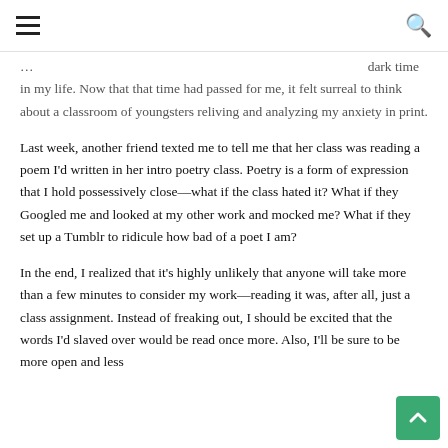☰  🔍
…[going] …ing pretty … dark time in my life. Now that that time had passed for me, it felt surreal to think about a classroom of youngsters reliving and analyzing my anxiety in print.
Last week, another friend texted me to tell me that her class was reading a poem I'd written in her intro poetry class. Poetry is a form of expression that I hold possessively close—what if the class hated it? What if they Googled me and looked at my other work and mocked me? What if they set up a Tumblr to ridicule how bad of a poet I am?
In the end, I realized that it's highly unlikely that anyone will take more than a few minutes to consider my work—reading it was, after all, just a class assignment. Instead of freaking out, I should be excited that the words I'd slaved over would be read once more. Also, I'll be sure to be more open and less